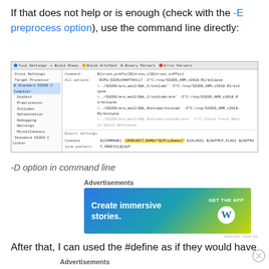If that does not help or is enough (check with the -E preprocess option), use the command line directly:
[Figure (screenshot): IDE screenshot showing Tool Settings with Standard S32DS C Compiler selected, Command, All options, and Export settings with Command line pattern fields. The command line pattern field shows ${COMMAND} -DPROJECT_NAME="${ProjName}" ${FLAGS} ${OUTPUT_FLAG} ${OUTPUT_PREFIX}${OUT highlighted in yellow.]
-D option in command line
Advertisements
[Figure (illustration): WordPress advertisement banner: 'Create immersive stories.' with GET THE APP button and WordPress logo on gradient blue-green-yellow background.]
REPORT THIS AD
After that, I can used the #define as if they would have
Advertisements